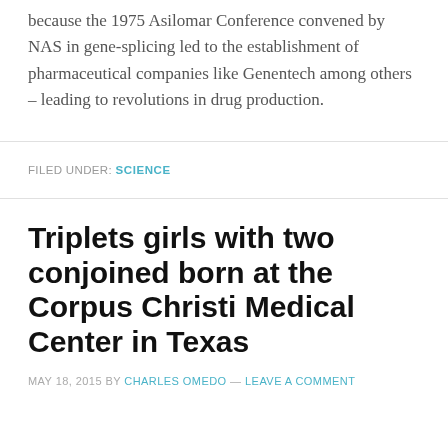because the 1975 Asilomar Conference convened by NAS in gene-splicing led to the establishment of pharmaceutical companies like Genentech among others – leading to revolutions in drug production.
FILED UNDER: SCIENCE
Triplets girls with two conjoined born at the Corpus Christi Medical Center in Texas
MAY 18, 2015 BY CHARLES OMEDO — LEAVE A COMMENT